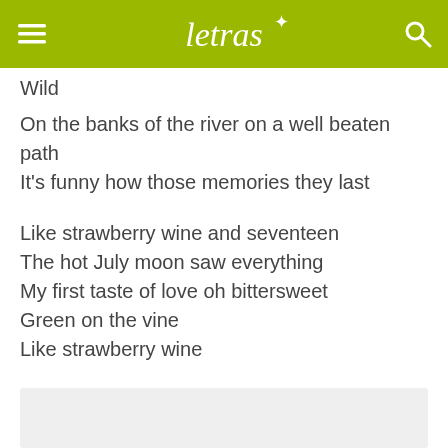letras
Wild
On the banks of the river on a well beaten path
It's funny how those memories they last
Like strawberry wine and seventeen
The hot July moon saw everything
My first taste of love oh bittersweet
Green on the vine
Like strawberry wine
[Figure (other): Advertisement placeholder box with light gray background]